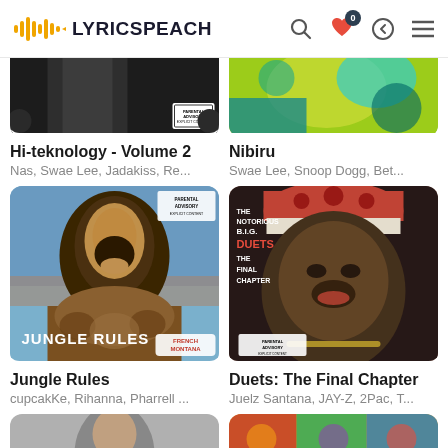LYRICSPEACH
[Figure (screenshot): Partial album cover for Hi-teknology Volume 2 (black and white, top portion only)]
Hi-teknology - Volume 2
Nas, Swae Lee, Jadakiss, Re...
[Figure (screenshot): Partial album cover for Nibiru (green/yellow graphic, top portion only)]
Nibiru
Swae Lee, Snoop Dogg, Bet...
[Figure (photo): Album cover: Jungle Rules by French Montana — man with beard in fur coat against sky background]
Jungle Rules
cupcakKe, Rihanna, Pharrell ...
[Figure (illustration): Album cover: Duets: The Final Chapter by The Notorious B.I.G. — red and black illustrated portrait]
Duets: The Final Chapter
Juelz Santana, JAY-Z, 2Pac, T...
[Figure (photo): Partial album cover bottom row left — person visible at top]
[Figure (photo): Partial album cover bottom row right — colorful graphic visible at top]